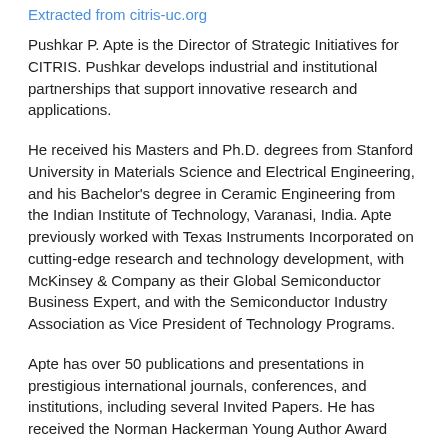Extracted from citris-uc.org
Pushkar P. Apte is the Director of Strategic Initiatives for CITRIS. Pushkar develops industrial and institutional partnerships that support innovative research and applications.
He received his Masters and Ph.D. degrees from Stanford University in Materials Science and Electrical Engineering, and his Bachelor's degree in Ceramic Engineering from the Indian Institute of Technology, Varanasi, India. Apte previously worked with Texas Instruments Incorporated on cutting-edge research and technology development, with McKinsey & Company as their Global Semiconductor Business Expert, and with the Semiconductor Industry Association as Vice President of Technology Programs.
Apte has over 50 publications and presentations in prestigious international journals, conferences, and institutions, including several Invited Papers. He has received the Norman Hackerman Young Author Award